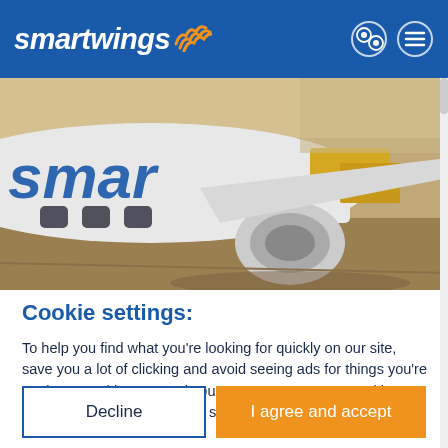smartwings
[Figure (photo): Close-up photograph of a Smartwings airline aircraft on the tarmac, showing the fuselage, engine, and jet bridge at an airport.]
Cookie settings:
To help you find what you're looking for quickly on our site, save you a lot of clicking and avoid seeing ads for things you're not interested in, we need your consent to process cookies, which are small files that are stored in your browser.
Decline
I agree and accept